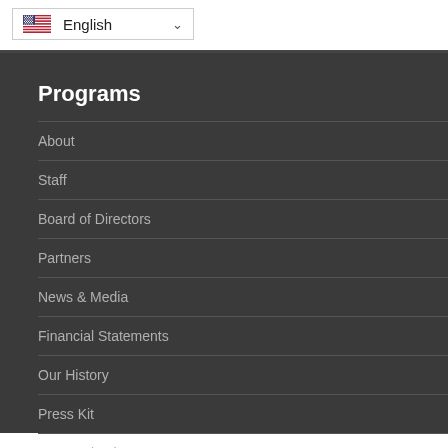English
Programs
About
Staff
Board of Directors
Partners
News & Media
Financial Statements
Our History
Press Kit
Get Involved